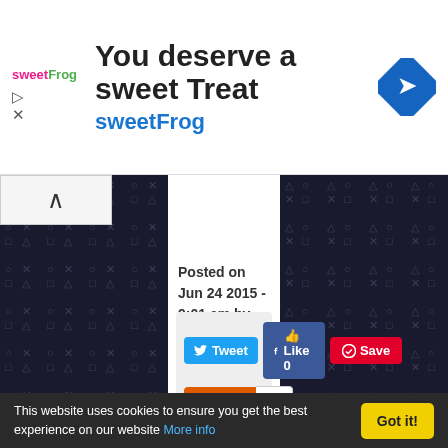[Figure (screenshot): SweetFrog advertisement banner with logo, headline 'You deserve a sweet Treat', subline 'sweetFrog', and a blue diamond navigation icon]
[Figure (screenshot): PlayStation-themed dark sidebar with repeating symbols (circle, X, square, triangle) on left side]
[Figure (screenshot): PlayStation-themed dark sidebar with repeating symbols (circle, X, square, triangle) on right side]
Posted on Jun 24 2015 - 9:01 am by Gaf Hussain
[Figure (screenshot): Social sharing buttons: Tweet (blue), Like 0 (Facebook blue), Save (Pinterest red), Share (orange) with count 3, and navigation links PREVIOUS and NEXT]
[Figure (photo): Two young men running outdoors in a video game scene, likely from Uncharted 4]
This website uses cookies to ensure you get the best experience on our website More info